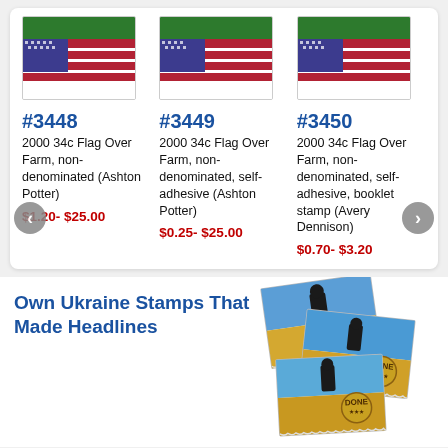[Figure (photo): Stamp image for #3448, US Flag Over Farm]
#3448
2000 34c Flag Over Farm, non-denominated (Ashton Potter)
$1.20- $25.00
[Figure (photo): Stamp image for #3449, US Flag Over Farm]
#3449
2000 34c Flag Over Farm, non-denominated, self-adhesive (Ashton Potter)
$0.25- $25.00
[Figure (photo): Stamp image for #3450, US Flag Over Farm]
#3450
2000 34c Flag Over Farm, non-denominated, self-adhesive, booklet stamp (Avery Dennison)
$0.70- $3.20
Own Ukraine Stamps That Made Headlines
[Figure (photo): Ukraine stamps shown in a fanned arrangement, three stamps depicting a soldier/figure on blue and yellow background with a circular 'Done' badge overlay]